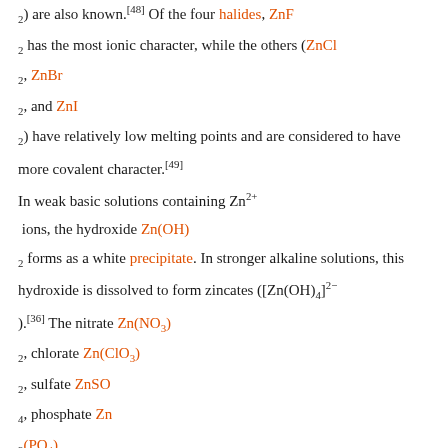2) are also known.[48] Of the four halides, ZnF 2 has the most ionic character, while the others (ZnCl 2, ZnBr 2, and ZnI 2) have relatively low melting points and are considered to have more covalent character.[49] In weak basic solutions containing Zn2+ ions, the hydroxide Zn(OH) 2 forms as a white precipitate. In stronger alkaline solutions, this hydroxide is dissolved to form zincates ([Zn(OH)4]2− ).[36] The nitrate Zn(NO3) 2, chlorate Zn(ClO3) 2, sulfate ZnSO 4, phosphate Zn 3(PO4) 2, molybdate ZnMoO 4, cyanide Zn(CN) 2, arsenite Zn(AsO2) 2, arsenate Zn(AsO4) 2·8H 2O and the chromate ZnCrO (one of the few colored zinc compounds) are a few examples of